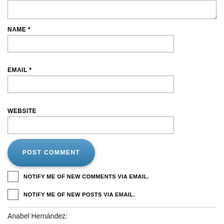[Figure (screenshot): Partial textarea input field at top of page with resize handle]
NAME *
[Figure (screenshot): Name input text field]
EMAIL *
[Figure (screenshot): Email input text field]
WEBSITE
[Figure (screenshot): Website input text field]
[Figure (screenshot): Blue POST COMMENT button]
NOTIFY ME OF NEW COMMENTS VIA EMAIL.
NOTIFY ME OF NEW POSTS VIA EMAIL.
Anabel Hernández: